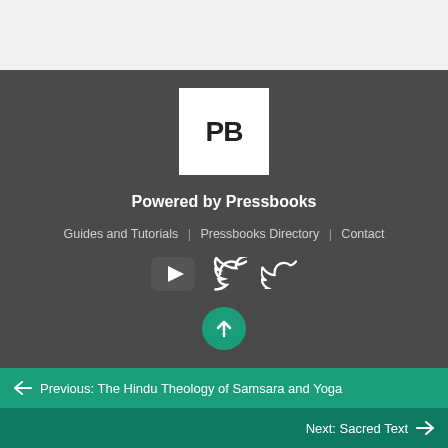[Figure (logo): Pressbooks PB logo - white square with bold PB text on dark background]
Powered by Pressbooks
Guides and Tutorials  |  Pressbooks Directory  |  Contact
[Figure (illustration): YouTube and Twitter social media icons in white on dark background]
[Figure (illustration): Green circular scroll-to-top button with upward arrow]
← Previous: The Hindu Theology of Samsara and Yoga
Next: Sacred Text →